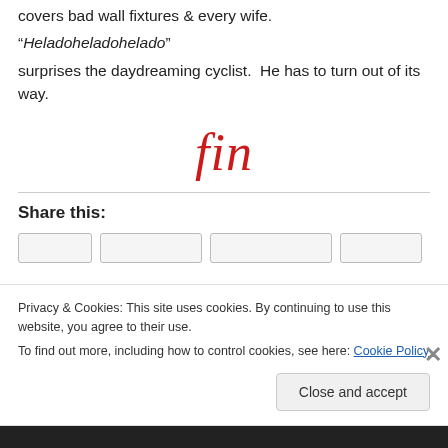covers bad wall fixtures & every wife.
“Heladoheladohelado”
surprises the daydreaming cyclist.  He has to turn out of its way.
[Figure (illustration): The word 'fin' displayed in large red cursive/italic script, centered on the page, indicating the end of the text.]
Share this:
Privacy & Cookies: This site uses cookies. By continuing to use this website, you agree to their use.
To find out more, including how to control cookies, see here: Cookie Policy